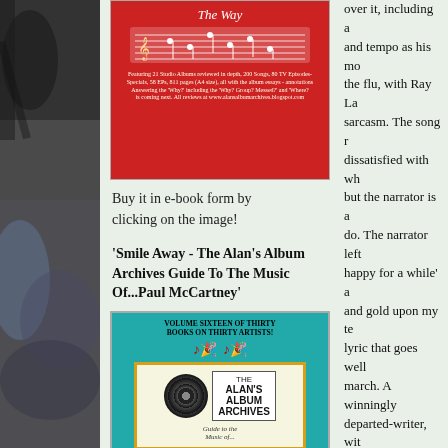[Figure (photo): Left side photo strip showing dark/blurred outdoor scene]
[Figure (illustration): Red book cover for Alan's Album Archives e-book, top portion visible with music staff decoration and small caption text]
Buy it in e-book form by clicking on the image!
'Smile Away - The Alan's Album Archives Guide To The Music Of...Paul McCartney'
[Figure (illustration): Teal book cover: 'VOLUME SIXTEEN OF THIRTY BOOKS ON THIRTY ARTISTS!' with Alan's Album Archives logo, Paul McCartney, Smile Away]
over it, including and tempo as his mo the flu, with Ray La sarcasm. The song r dissatisfied with wh but the narrator is a do. The narrator left happy for a while' a and gold upon my te lyric that goes well march. A winningly departed-writer, wit to be happy with th superbly arranged. not satisfied with g suddenly sing a cap a perfectionist. Rele somehow sadly fitti Peels' radio progra the day according t
[84] 'Song Without Jack the Lad kind o what on earth is ha